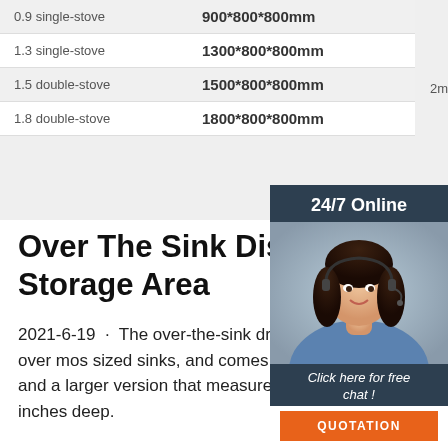| 0.9 single-stove | 900*800*800mm |
| 1.3 single-stove | 1300*800*800mm |
| 1.5 double-stove | 1500*800*800mm |
| 1.8 double-stove | 1800*800*800mm |
2m³/h/stove (gas)
[Figure (photo): 24/7 online chat widget with woman wearing headset, Click here for free chat button, and QUOTATION button]
Over The Sink Dish Drying Ra Storage Area
2021-6-19 · The over-the-sink drying features 2 tiers, uses a punch-free installation method, is black in color, fits over most sized sinks, and comes in two different sizes, a smaller version that measures 25.6 inches wide, and a larger version that measures 33.5 inches wide. Both models then measure 20.5 inches tall x 12.6 inches deep.